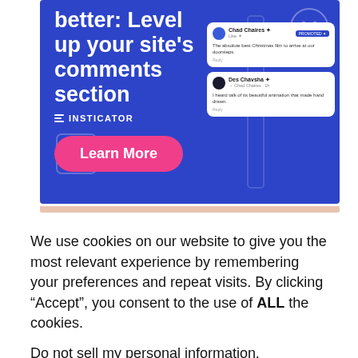[Figure (screenshot): Insticator advertisement banner with blue background. Headline reads 'better: Level up your site's comments section'. Shows INSTICATOR logo with three horizontal lines icon. Pink 'Learn More' button. Right side shows chat comment card mockups with user names Chad Chaires and Des Chávsha with sample comments. Smiley face outline icon in top right corner.]
We use cookies on our website to give you the most relevant experience by remembering your preferences and repeat visits. By clicking “Accept”, you consent to the use of ALL the cookies.
Do not sell my personal information.